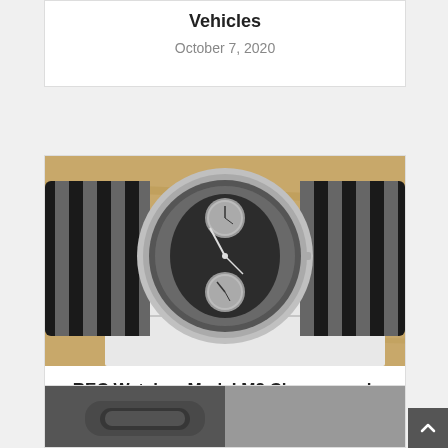Vehicles
October 7, 2020
[Figure (photo): Photo of a REC Watches Mark I M2 Chronograph watch with black and grey striped NATO strap, placed on car blueprint drawings on a wooden surface.]
REC Watches Mark I M2 Chronograph Review
August 4, 2014
[Figure (photo): Partial photo of a watch on a wrist, cut off at bottom of page.]